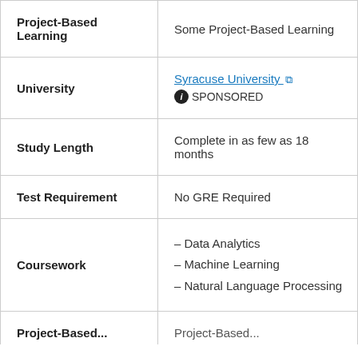| Field | Value |
| --- | --- |
| Project-Based Learning | Some Project-Based Learning |
| University | Syracuse University [link] SPONSORED |
| Study Length | Complete in as few as 18 months |
| Test Requirement | No GRE Required |
| Coursework | – Data Analytics
– Machine Learning
– Natural Language Processing |
| Project-Based... | Project-Based... |